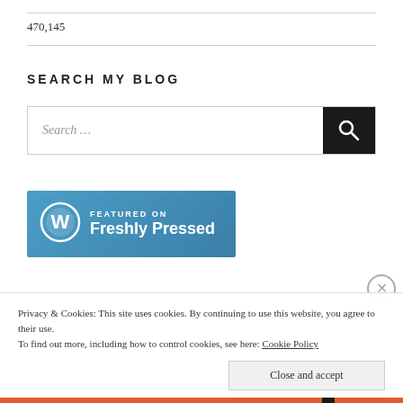470,145
SEARCH MY BLOG
[Figure (screenshot): Search box with text 'Search ...' and a dark search button with magnifying glass icon]
[Figure (logo): WordPress 'Featured on Freshly Pressed' badge — blue banner with WordPress logo circle and white text]
Privacy & Cookies: This site uses cookies. By continuing to use this website, you agree to their use.
To find out more, including how to control cookies, see here: Cookie Policy
Close and accept